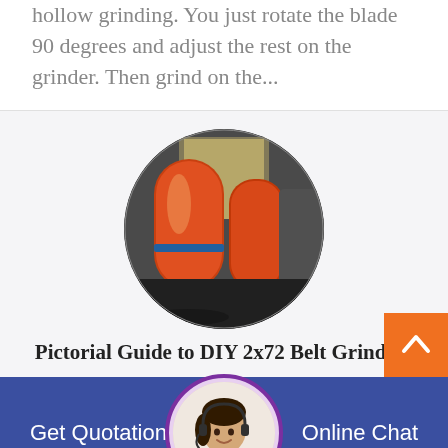hollow grinding. You just rotate the blade 90 degrees and adjust the rest on the grinder. Then grind on the...
[Figure (photo): Circular cropped photo of large orange industrial grinding mill machines in a factory/warehouse setting]
Pictorial Guide to DIY 2x72 Belt Grinders
Get Quotation
[Figure (photo): Circular avatar photo of a smiling woman wearing a headset, used as a customer support representative icon]
Online Chat